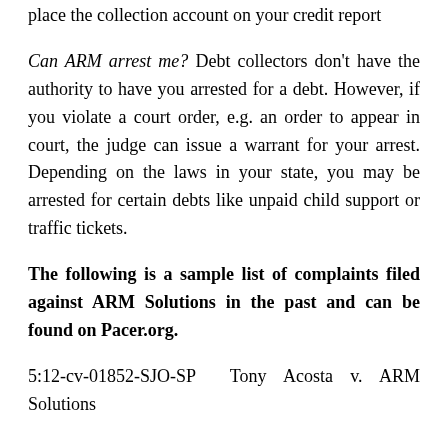place the collection account on your credit report
Can ARM arrest me? Debt collectors don't have the authority to have you arrested for a debt. However, if you violate a court order, e.g. an order to appear in court, the judge can issue a warrant for your arrest. Depending on the laws in your state, you may be arrested for certain debts like unpaid child support or traffic tickets.
The following is a sample list of complaints filed against ARM Solutions in the past and can be found on Pacer.org.
5:12-cv-01852-SJO-SP Tony Acosta v. ARM Solutions